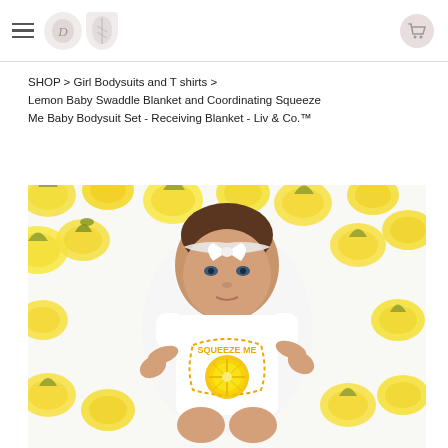Navigation header with hamburger menu, logo, and cart icon
SHOP > Girl Bodysuits and T shirts > Lemon Baby Swaddle Blanket and Coordinating Squeeze Me Baby Bodysuit Set - Receiving Blanket - Liv & Co.™
[Figure (photo): Baby lying on lemon-print swaddle blanket wearing a white onesie with 'Squeeze Me' text and lemon graphic, with a white bow headband]